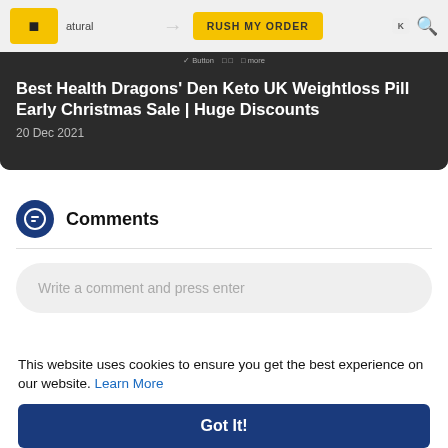[Figure (screenshot): Website header banner showing a logo with yellow box and navigation strip, a 'RUSH MY ORDER' button, and a dark section with article title and date.]
Best Health Dragons' Den Keto UK Weightloss Pill Early Christmas Sale | Huge Discounts
20 Dec 2021
Comments
Write a comment and press enter
This website uses cookies to ensure you get the best experience on our website. Learn More
Got It!